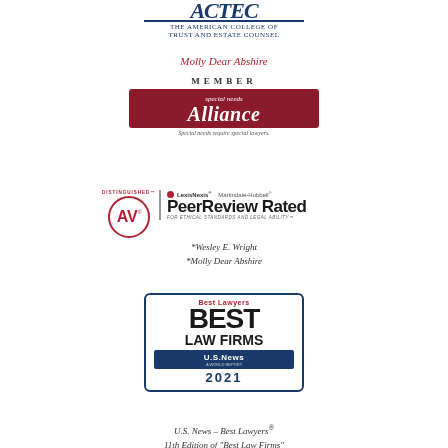[Figure (logo): ACTEC - The American College of Trust and Estate Counsel logo with partial text visible at top]
Molly Dear Abshire
MEMBER
[Figure (logo): Special Needs Alliance badge - dark red/maroon rectangular badge with white italic text reading 'special needs Alliance' with tagline 'Special needs require special lawyers.']
[Figure (logo): AV Distinguished Martindale-Hubbell Peer Review Rated badge with LexisNexis branding]
*Wesley E. Wright
*Molly Dear Abshire
[Figure (logo): Best Lawyers Best Law Firms U.S. News 2021 badge]
U.S. News – Best Lawyers®
11th Edition of "Best Law Firms"